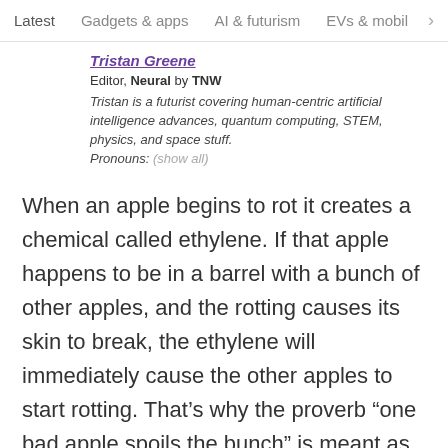Latest   Gadgets & apps   AI & futurism   EVs & mobil  >
Tristan Greene
Editor, Neural by TNW
Tristan is a futurist covering human-centric artificial intelligence advances, quantum computing, STEM, physics, and space stuff. Pronouns: (show all)
When an apple begins to rot it creates a chemical called ethylene. If that apple happens to be in a barrel with a bunch of other apples, and the rotting causes its skin to break, the ethylene will immediately cause the other apples to start rotting. That’s why the proverb “one bad apple spoils the bunch” is meant as a warning. If you find one bad apple, all the apples around it are already rotting.